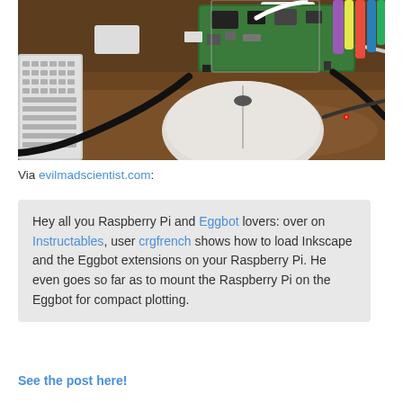[Figure (photo): Photograph of a Raspberry Pi circuit board mounted on a desk, with cables, a white computer mouse, a keyboard on the left, and markers/pens in the top right corner.]
Via evilmadscientist.com:
Hey all you Raspberry Pi and Eggbot lovers: over on Instructables, user crgfrench shows how to load Inkscape and the Eggbot extensions on your Raspberry Pi. He even goes so far as to mount the Raspberry Pi on the Eggbot for compact plotting.
See the post here!